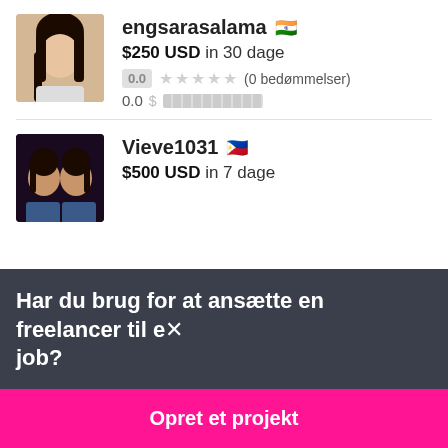[Figure (photo): Profile photo of engsarasalama, a woman with long dark hair]
engsarasalama 🇮🇳
$250 USD in 30 dage
0.0 ★★★★★ (0 bedømmelser)
0.0 $ ██████████
[Figure (photo): Profile photo of Vieve1031, a woman]
Vieve1031 🇵🇭
$500 USD in 7 dage
Har du brug for at ansætte en freelancer til et job?
Opret et projekt